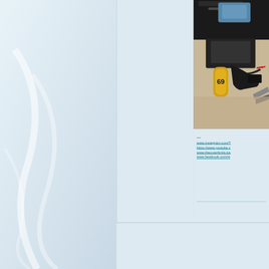[Figure (photo): Photo of electronic/mechanical parts on a carpet, including what appears to be a yellow capacitor or battery, black components, and wires with red tips. Partial view of a dark case or device at the top.]
—
www.instagram.com/T
https://www.youtube.c
www.theouterlimits.ba
www.facebook.com/w
IvanP
Posted on Jul 28 201
Our Himalayan, Capp
[Figure (photo): Avatar/profile image showing a person with face paint or artistic makeup with red, blue and teal colors, text overlay reading 'theouterLIMITS']